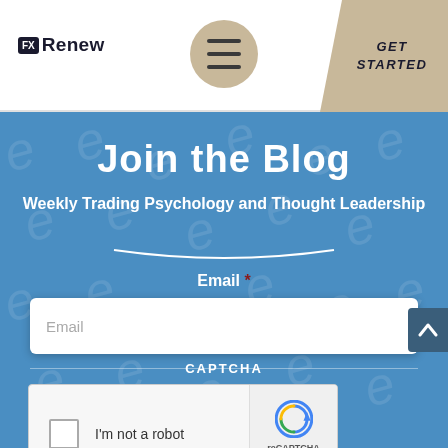FXRenew | GET STARTED
Join the Blog
Weekly Trading Psychology and Thought Leadership
Email *
CAPTCHA
[Figure (screenshot): reCAPTCHA widget with checkbox labeled 'I'm not a robot', reCAPTCHA logo, Privacy and Terms links]
I'm not a robot